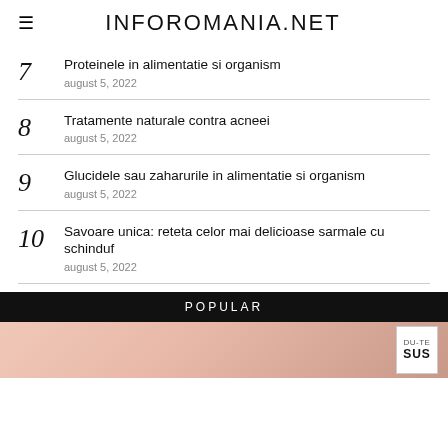INFOROMANIA.NET
7 Proteinele in alimentatie si organism
auguust 5, 2022
8 Tratamente naturale contra acneei
auguust 5, 2022
9 Glucidele sau zaharurile in alimentatie si organism
auguust 5, 2022
10 Savoare unica: reteta celor mai delicioase sarmale cu schinduf
auguust 5, 2022
POPULAR
[Figure (photo): Close-up photo of a person's face/skin (nose area visible), with a small white box in bottom-right corner reading DU-TE SUS]